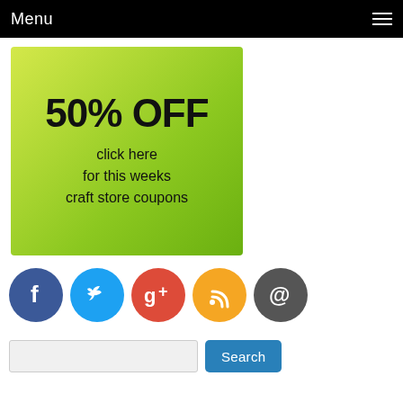Menu
[Figure (illustration): Green gradient banner with '50% OFF' in large bold text and 'click here for this weeks craft store coupons' below]
[Figure (infographic): Row of five social media icon circles: Facebook (blue, f), Twitter (light blue, bird), Google+ (red, g+), RSS (orange, wifi icon), Email (dark gray, @)]
Search